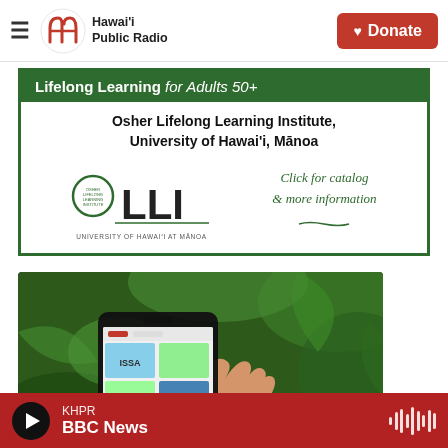Hawai'i Public Radio — Donate
[Figure (infographic): OLLI advertisement: Lifelong Learning for Adults 50+, Osher Lifelong Learning Institute, University of Hawai'i, Mānoa, with OLLI logo and 'Click for catalog & more information']
[Figure (photo): A hand holding a smartphone displaying the Hawai'i Public Radio app, with green tropical foliage in the background]
KHPR — BBC News (player bar with play button and waveform icon)